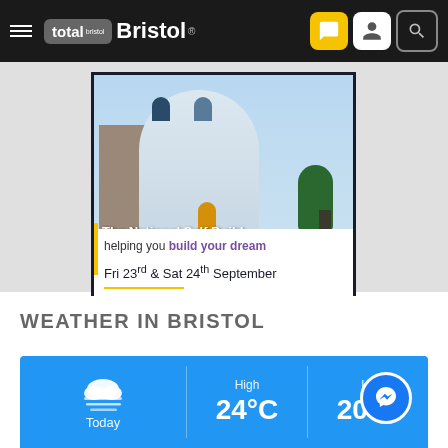total Bristol ®
[Figure (photo): Advertisement for The National Self Build & Renovation Show. Shows a modern white building with a yellow door. Text: 'The National Self Build & Renovation Show', 'helping you build your dream', 'Fri 23rd & Sat 24th September']
WEATHER IN BRISTOL
[Figure (infographic): Weather widget showing Today with cloud/fog icon, High 24°C, Low 20°C on a blue background with Facebook Messenger button overlay]